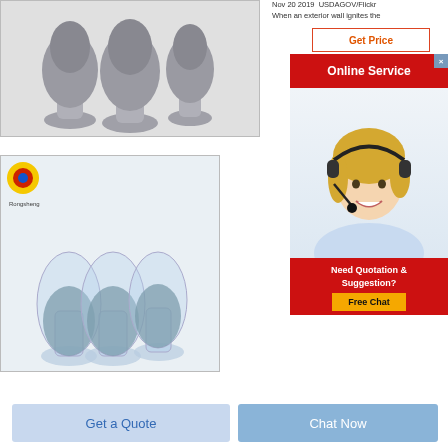[Figure (photo): Three dark gray metalite/metal powder flask-shaped containers on white background]
[Figure (photo): Three transparent flask-shaped containers filled with blue-gray powder, with Rongsheng logo in top-left corner]
Nov 20 2019  USDAGOV/Flickr
When an exterior wall ignites the
[Figure (screenshot): Online Service widget: Get Price box, red Online Service banner with close button, headset customer service representative photo, Need Quotation & Suggestion? red banner with Free Chat yellow button]
[Figure (other): Get a Quote button (light blue)]
[Figure (other): Chat Now button (medium blue)]